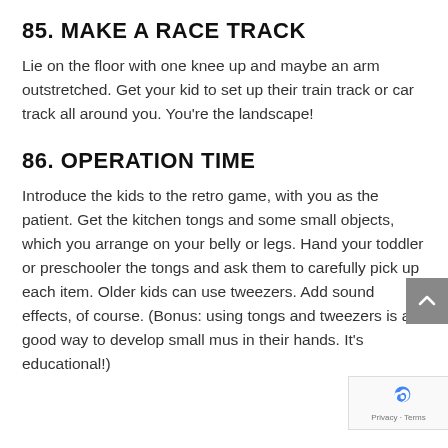85. MAKE A RACE TRACK
Lie on the floor with one knee up and maybe an arm outstretched. Get your kid to set up their train track or car track all around you. You're the landscape!
86. OPERATION TIME
Introduce the kids to the retro game, with you as the patient. Get the kitchen tongs and some small objects, which you arrange on your belly or legs. Hand your toddler or preschooler the tongs and ask them to carefully pick up each item. Older kids can use tweezers. Add sound effects, of course. (Bonus: using tongs and tweezers is a good way to develop small mus in their hands. It's educational!)